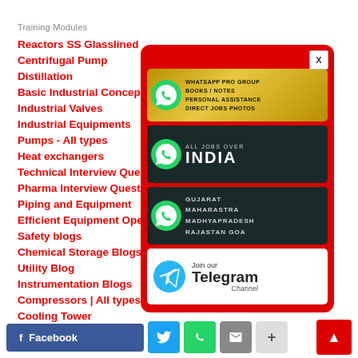Training Modules
Reactors SS Glasslined
Centrifugal Pump
Distillation
Basic Industrial Concepts
Industrial Valves
Industrial Equipments
Pumps - All types
Heat exchangers
Technical Interview Questions
Pharma Interview Questions
Piping and Equipment
Efficient Equipment Operation
Safety blogs
Chemical Storage Blogs
Utility Blog
Instrumentation Blogs
Compressors | All types
Cooling Tower
HR Interview Questions
Career Blogs
Industrial Policies
Electrical Blogs
Project Reports for Plant persons & Engineering students
Subjective Quick learning Revision
[Figure (infographic): Popup modal with WhatsApp and Telegram social join cards: 1) WhatsApp Pro Group - Books/Notes, Personal Assistance, Direct Jobs Photos; 2) All Jobs Over India; 3) Gujarat, Maharastra, Madhyapradesh, Rajastan Goa WhatsApp groups; 4) Join our Telegram Channel]
Facebook
[Figure (infographic): Social media share buttons: Facebook, Twitter, WhatsApp, Email, Plus, and scroll-to-top button]